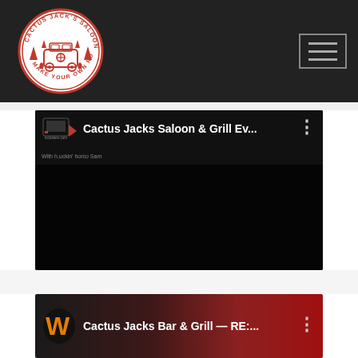[Figure (logo): Cactus Jack's Saloon circular logo with red illustration of a van/bus with trees, text around border reading CACTUS JACK'S SALOON and MAKE YOUR OWN ROAD, white background with red border]
[Figure (screenshot): YouTube-style video card showing 'Cactus Jacks Saloon & Grill Ev...' with a channel logo from luctubers.com and three-dot menu, black video thumbnail area below]
[Figure (screenshot): YouTube-style video card showing 'Cactus Jacks Bar & Grill — RE:...' with an orange W channel logo, reddish-brown background with a person in an orange hat, and three-dot menu]